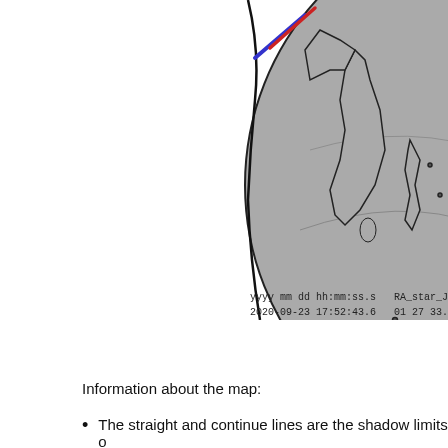[Figure (illustration): Partial globe/earth diagram showing Asia-Pacific region in gray, with black coastline outlines and a latitude/longitude grid arc. Two diagonal lines are visible in the upper-left area of the image — one blue and one red — representing shadow limits. The globe is cropped, showing the upper-right quadrant of the sphere.]
yyyy mm dd hh:mm:ss.s   RA_star_J200
2020-09-23 17:52:43.6   01 27 33.519
Information about the map:
The straight and continue lines are the shadow limits o